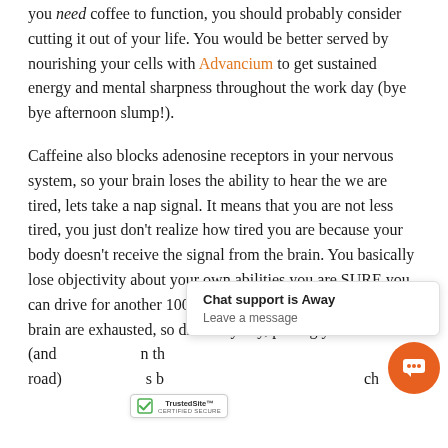you need coffee to function, you should probably consider cutting it out of your life. You would be better served by nourishing your cells with Advancium to get sustained energy and mental sharpness throughout the work day (bye bye afternoon slump!).
Caffeine also blocks adenosine receptors in your nervous system, so your brain loses the ability to hear the we are tired, lets take a nap signal. It means that you are not less tired, you just don't realize how tired you are because your body doesn't receive the signal from the brain. You basically lose objectivity about your own abilities you are SURE you can drive for another 100 miles, even though your body and brain are exhausted, so drive anyway, putting yourself (and [obscured by chat widget] n the road) [obscured by badge] s b[...] ch...
[Figure (other): Chat support overlay widget showing 'Chat support is Away' and 'Leave a message', with an orange chat icon button]
[Figure (other): TrustedSite Certified Secure badge]